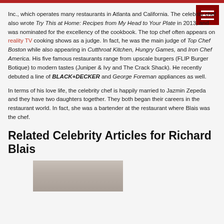Inc., which operates many restaurants in Atlanta and California. The celebrity chef also wrote Try This at Home: Recipes from My Head to Your Plate in 2013, and was nominated for the excellency of the cookbook. The top chef often appears on reality TV cooking shows as a judge. In fact, he was the main judge of Top Chef Boston while also appearing in Cutthroat Kitchen, Hungry Games, and Iron Chef America. His five famous restaurants range from upscale burgers (FLIP Burger Botique) to modern tastes (Juniper & Ivy and The Crack Shack). He recently debuted a line of BLACK+DECKER and George Foreman appliances as well.
In terms of his love life, the celebrity chef is happily married to Jazmin Zepeda and they have two daughters together. They both began their careers in the restaurant world. In fact, she was a bartender at the restaurant where Blais was the chef.
Related Celebrity Articles for Richard Blais
[Figure (photo): Photo of Richard Blais (partially visible, cropped at bottom of page)]